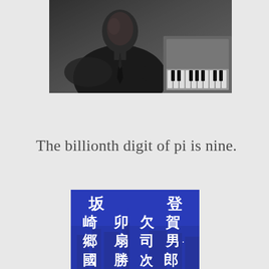[Figure (photo): Black and white photograph of a man in a suit sitting at and playing a piano, viewed from the side.]
The billionth digit of pi is nine.
[Figure (photo): A blue-tinted image showing Japanese kanji characters overlaid on what appears to be a cityscape background, resembling film credits or title cards.]